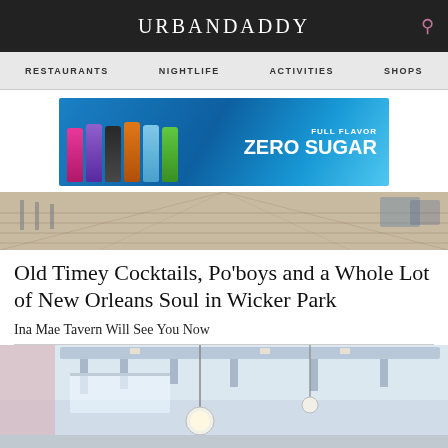URBANDADDY
RESTAURANTS  NIGHTLIFE  ACTIVITIES  SHOPS
[Figure (photo): Monster Energy drink advertisement banner: multiple colored cans on ice with text 'FULL FLAVOR ZERO SUGAR']
[Figure (photo): Interior of a restaurant showing bar stools and wooden floor, viewed from a wide angle]
Old Timey Cocktails, Po'boys and a Whole Lot of New Orleans Soul in Wicker Park
Ina Mae Tavern Will See You Now
[Figure (photo): Interior of Ina Mae Tavern restaurant in Wicker Park showing pendant lights, exposed ductwork, and industrial ceiling]